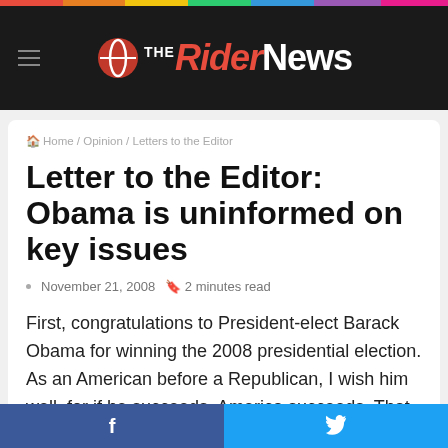The Rider News
Home / Opinion / Letters to the Editor
Letter to the Editor: Obama is uninformed on key issues
November 21, 2008  2 minutes read
First, congratulations to President-elect Barack Obama for winning the 2008 presidential election. As an American before a Republican, I wish him well, for if he succeeds, America succeeds. That does not mean, however, that I am thrilled, excited or in awe. I am one of the 57.8 million Americans who